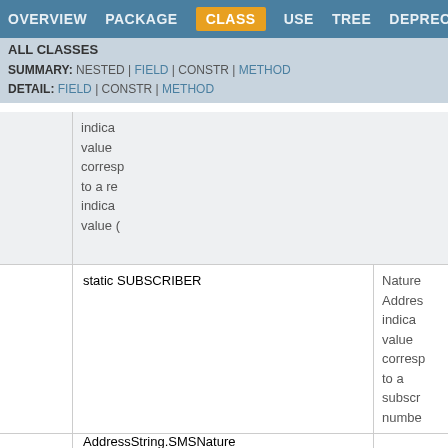OVERVIEW | PACKAGE | CLASS | USE | TREE | DEPRECATED | HELP
ALL CLASSES
SUMMARY: NESTED | FIELD | CONSTR | METHOD
DETAIL: FIELD | CONSTR | METHOD
| Modifier and Type | Field and Description |
| --- | --- |
| static AddressString.SMSNature | SUBSCRIBER | Nature of AddressString indicates value corresponds to a subscriber number |
| static AddressString.SMSNature | UNKNOWN | Nature of AddressString indic... |